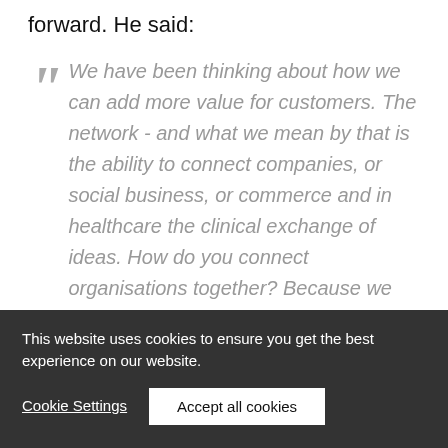forward. He said:
We have been thinking about how we can add more value for customers. The network - and what we mean by that is the ability to connect companies, or social business, or commerce and in healthcare the clinical exchange of ideas. How do you connect organisations together? Because we truly believe that the future does belong to networked companies.
This website uses cookies to ensure you get the best experience on our website.
Cookie Settings
Accept all cookies